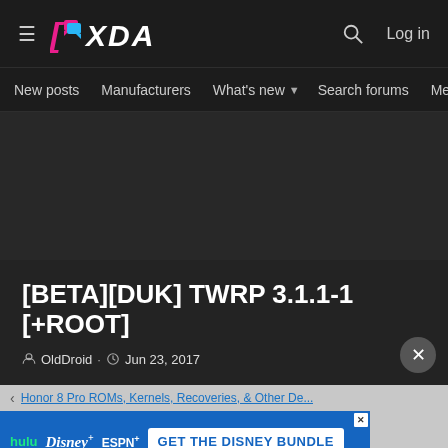XDA Developers
New posts  Manufacturers  What's new  Search forums  Members
[BETA][DUK] TWRP 3.1.1-1 [+ROOT]
OldDroid · Jun 23, 2017
< Honor 8 Pro ROMs, Kernels, Recoveries, & Other De...
[Figure (screenshot): GET THE DISNEY BUNDLE advertisement banner with Hulu, Disney+, ESPN+ logos]